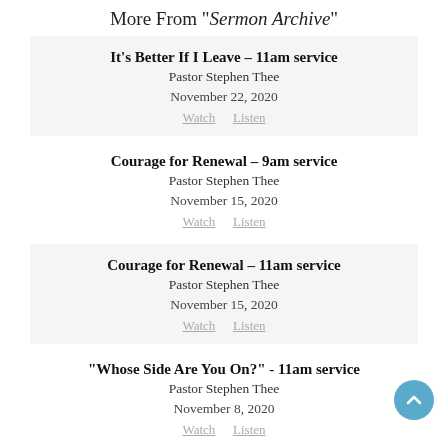More From "Sermon Archive"
It's Better If I Leave – 11am service
Pastor Stephen Thee
November 22, 2020
Watch   Listen
Courage for Renewal – 9am service
Pastor Stephen Thee
November 15, 2020
Watch   Listen
Courage for Renewal – 11am service
Pastor Stephen Thee
November 15, 2020
Watch   Listen
“Whose Side Are You On?” - 11am service
Pastor Stephen Thee
November 8, 2020
Watch   Listen